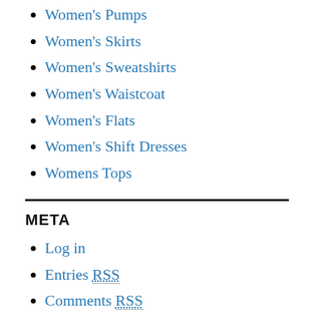Women's Pumps
Women's Skirts
Women's Sweatshirts
Women's Waistcoat
Women's Flats
Women's Shift Dresses
Womens Tops
META
Log in
Entries RSS
Comments RSS
WordPress.org